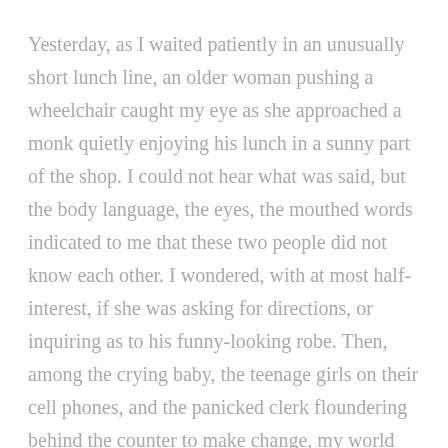Yesterday, as I waited patiently in an unusually short lunch line, an older woman pushing a wheelchair caught my eye as she approached a monk quietly enjoying his lunch in a sunny part of the shop. I could not hear what was said, but the body language, the eyes, the mouthed words indicated to me that these two people did not know each other. I wondered, with at most half-interest, if she was asking for directions, or inquiring as to his funny-looking robe. Then, among the crying baby, the teenage girls on their cell phones, and the panicked clerk floundering behind the counter to make change, my world slowed down as I watched the lady reach out to hold the monk's hand and bow her head as he said a prayer.